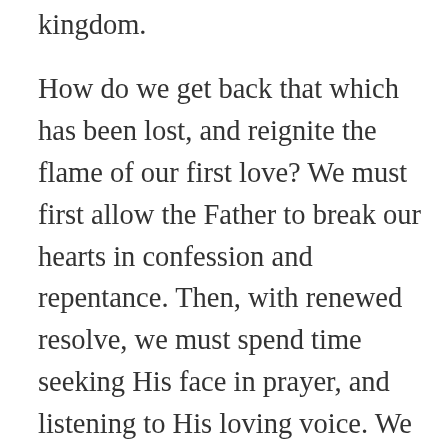kingdom.
How do we get back that which has been lost, and reignite the flame of our first love? We must first allow the Father to break our hearts in confession and repentance. Then, with renewed resolve, we must spend time seeking His face in prayer, and listening to His loving voice. We must delve into the Word in reverence, honor and obedience! The prophet Isaiah spoke about God's willingness to respond to our desperate need to turn from our earthly distractions and passionately go after the face of the living Lord: “Yet the Lord longs to be gracious to you; He rises to show you compassion. For the Lord is a God of justice. Blessed are all who wait for Him. How gracious He will be when you cry…